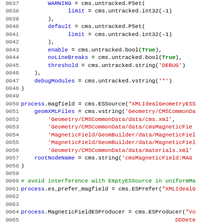[Figure (screenshot): Source code listing (Python/CMS configuration) with line numbers 0037-0066, showing cms.untracked configuration parameters and process.magfield ESSource setup with geomXMLFiles and related parameters.]